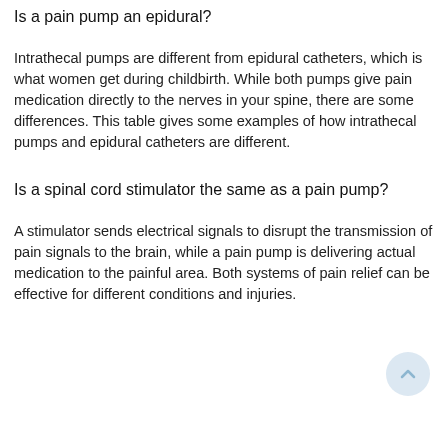Is a pain pump an epidural?
Intrathecal pumps are different from epidural catheters, which is what women get during childbirth. While both pumps give pain medication directly to the nerves in your spine, there are some differences. This table gives some examples of how intrathecal pumps and epidural catheters are different.
Is a spinal cord stimulator the same as a pain pump?
A stimulator sends electrical signals to disrupt the transmission of pain signals to the brain, while a pain pump is delivering actual medication to the painful area. Both systems of pain relief can be effective for different conditions and injuries.